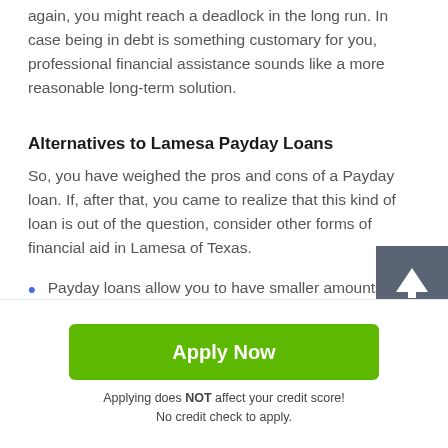again, you might reach a deadlock in the long run. In case being in debt is something customary for you, professional financial assistance sounds like a more reasonable long-term solution.
Alternatives to Lamesa Payday Loans
So, you have weighed the pros and cons of a Payday loan. If, after that, you came to realize that this kind of loan is out of the question, consider other forms of financial aid in Lamesa of Texas.
Payday loans allow you to have smaller amounts of money, but without having to involve an automobile in
[Figure (other): Scroll-to-top button with upward arrow icon, dark gray background]
Apply Now
Applying does NOT affect your credit score!
No credit check to apply.